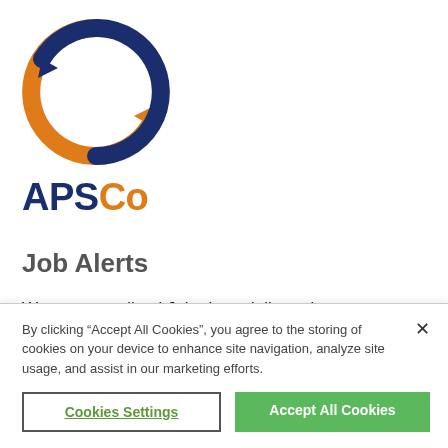[Figure (logo): APSCo logo: two circular arrows, one orange (left/bottom) and one dark blue (right/top), forming a recycling-style cycle icon]
APSCo
Job Alerts
Want personalised Job alerts delivered to you periodically?
By clicking “Accept All Cookies”, you agree to the storing of cookies on your device to enhance site navigation, analyze site usage, and assist in our marketing efforts.
Cookies Settings
Accept All Cookies